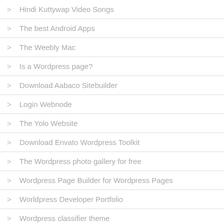Hindi Kuttywap Video Songs
The best Android Apps
The Weebly Mac
Is a Wordpress page?
Download Aabaco Sitebuilder
Login Webnode
The Yolo Website
Download Envato Wordpress Toolkit
The Wordpress photo gallery for free
Wordpress Page Builder for Wordpress Pages
Worldpress Developer Portfolio
Wordpress classifier theme
stationery
Market
Cuttywap Kannada 2016
The best black motive for Android